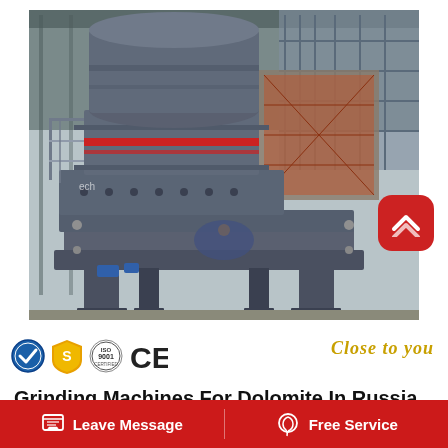[Figure (photo): Large industrial grinding/crushing machine (VSI sand maker or similar) photographed indoors in a warehouse/factory. The machine is heavy grey steel with red accent stripes, featuring a large cylindrical top section, structural frame supports, and staircase. A red rounded-square back-to-top button overlays the bottom-right of the photo.]
[Figure (logo): Row of certification logos: circular quality/check mark badge, gold S-shield badge, ISO 9001 circular badge, CE mark. Script text reading 'Close to you' in gold italic on the right.]
Grinding Machines For Dolomite In Russia
Leave Message    Free Service